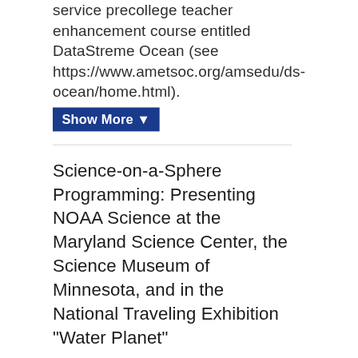service precollege teacher enhancement course entitled DataStreme Ocean (see https://www.ametsoc.org/amsedu/ds-ocean/home.html).
Show More ▼
Science-on-a-Sphere Programming: Presenting NOAA Science at the Maryland Science Center, the Science Museum of Minnesota, and in the National Traveling Exhibition "Water Planet"